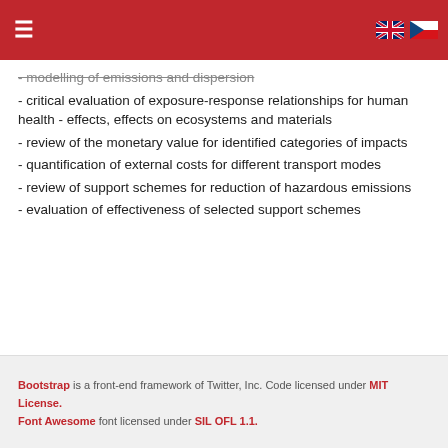Navigation bar with hamburger menu and language flags (EN, CZ)
- modelling of emissions and dispersion
- critical evaluation of exposure-response relationships for human health - effects, effects on ecosystems and materials
- review of the monetary value for identified categories of impacts
- quantification of external costs for different transport modes
- review of support schemes for reduction of hazardous emissions
- evaluation of effectiveness of selected support schemes
Bootstrap is a front-end framework of Twitter, Inc. Code licensed under MIT License. Font Awesome font licensed under SIL OFL 1.1.